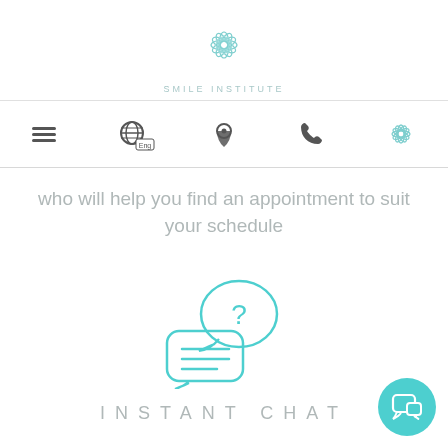[Figure (logo): Smile Institute snowflake logo in teal/turquoise color above the text SMILE INSTITUTE]
SMILE INSTITUTE
[Figure (infographic): Navigation bar with icons: hamburger menu, globe with Eng label, location pin, phone, and snowflake logo]
who will help you find an appointment to suit your schedule
[Figure (illustration): Teal outline illustration of two speech bubbles with a question mark, representing instant chat]
INSTANT CHAT
[Figure (illustration): Teal circular chat button in bottom right corner with chat icon]